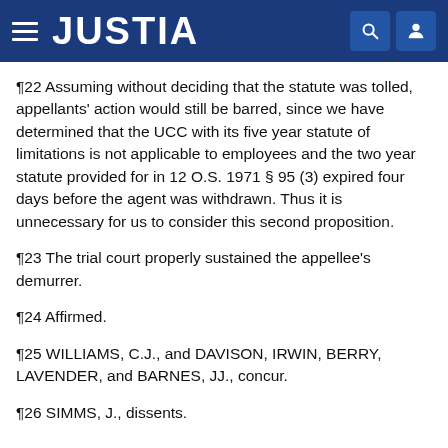JUSTIA
¶22 Assuming without deciding that the statute was tolled, appellants' action would still be barred, since we have determined that the UCC with its five year statute of limitations is not applicable to employees and the two year statute provided for in 12 O.S. 1971 § 95 (3) expired four days before the agent was withdrawn. Thus it is unnecessary for us to consider this second proposition.
¶23 The trial court properly sustained the appellee's demurrer.
¶24 Affirmed.
¶25 WILLIAMS, C.J., and DAVISON, IRWIN, BERRY, LAVENDER, and BARNES, JJ., concur.
¶26 SIMMS, J., dissents.